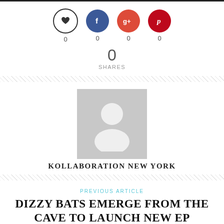[Figure (infographic): Social share bar with heart, Facebook, Google+, and Pinterest icons each showing count 0, and a total of 0 SHARES]
[Figure (photo): Gray placeholder avatar image (person silhouette)]
KOLLABORATION NEW YORK
PREVIOUS ARTICLE
DIZZY BATS EMERGE FROM THE CAVE TO LAUNCH NEW EP